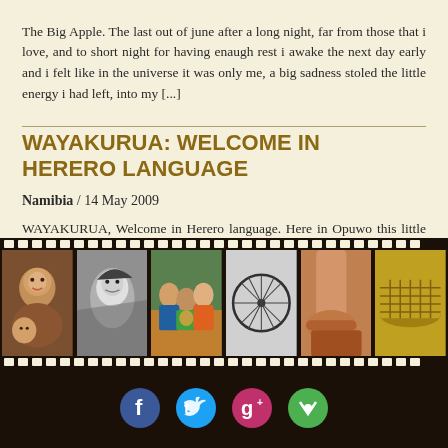The Big Apple. The last out of june after a long night, far from those that i love, and to short night for having enaugh rest i awake the next day early and i felt like in the universe it was only me, a big sadness stoled the little energy i had left, into my [...]
WAYAKURUA: WELCOME IN HERERO LANGUAGE
Namibia / 14 May 2009
WAYAKURUA, Welcome in Herero language. Here in Opuwo this little dusty town, so close to Angola where i have spended my last days waiting for some spares that i have broken thanks of this blody corrigation, While of this, i have enjoyed and i am enjoying of the hospitality of their people, and at the [...]
[Figure (photo): Film strip with six travel photos: smiling people portrait in color, black and white portrait of a child, group of people in color, bicycle wheel in black and white, foot/leg close-up, woven basket]